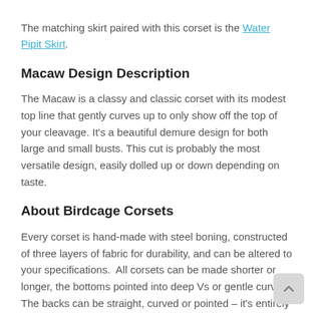The matching skirt paired with this corset is the Water Pipit Skirt.
Macaw Design Description
The Macaw is a classy and classic corset with its modest top line that gently curves up to only show off the top of your cleavage. It's a beautiful demure design for both large and small busts. This cut is probably the most versatile design, easily dolled up or down depending on taste.
About Birdcage Corsets
Every corset is hand-made with steel boning, constructed of three layers of fabric for durability, and can be altered to your specifications.  All corsets can be made shorter or longer, the bottoms pointed into deep Vs or gentle curves. The backs can be straight, curved or pointed – it's entirely